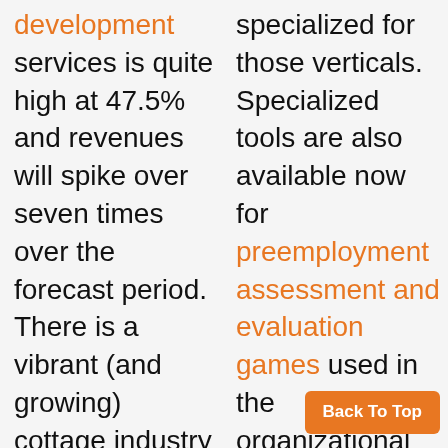development services is quite high at 47.5% and revenues will spike over seven times over the forecast period. There is a vibrant (and growing) cottage industry of custom Game-based Learning developers across the planet. The major buyers of custom services are corporations
specialized for those verticals. Specialized tools are also available now for preemployment assessment and evaluation games used in the organizational segments. There are highly-specialized authoring tools designed to create games for children. And of